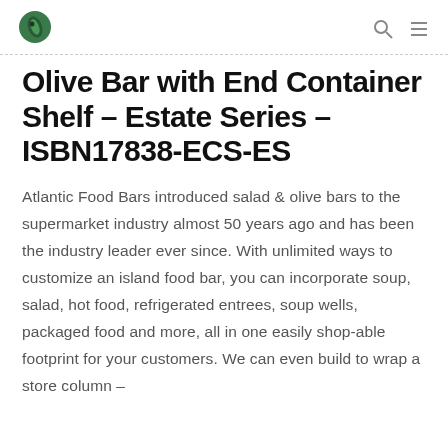[Logo] [Search icon] [Menu icon]
Olive Bar with End Container Shelf – Estate Series – ISBN17838-ECS-ES
Atlantic Food Bars introduced salad & olive bars to the supermarket industry almost 50 years ago and has been the industry leader ever since. With unlimited ways to customize an island food bar, you can incorporate soup, salad, hot food, refrigerated entrees, soup wells, packaged food and more, all in one easily shop-able footprint for your customers. We can even build to wrap a store column –